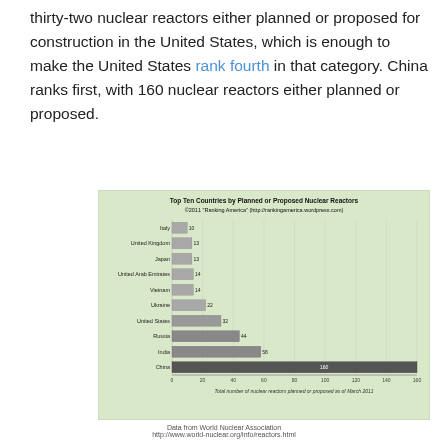thirty-two nuclear reactors either planned or proposed for construction in the United States, which is enough to make the United States rank fourth in that category. China ranks first, with 160 nuclear reactors either planned or proposed.
[Figure (bar-chart): Top Ten Countries by Planned or Proposed Nuclear Reactors ©2011 "Ranking America" (http://rankingamerica.wordpress.com)]
Data from World Nuclear Association
http://www.world-nuclear.org/info/reactors.html